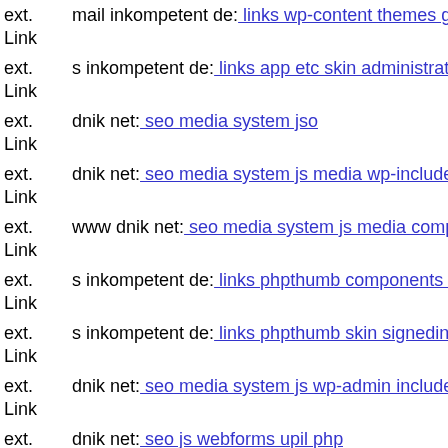ext. Link mail inkompetent de: links wp-content themes gazette s inkompetent de
ext. Link s inkompetent de: links app etc skin administrator wp-content
ext. Link dnik net: seo media system jso
ext. Link dnik net: seo media system js media wp-includes wp-content th
ext. Link www dnik net: seo media system js media components com jne
ext. Link s inkompetent de: links phpthumb components com alphaconte
ext. Link s inkompetent de: links phpthumb skin signedint php
ext. Link dnik net: seo media system js wp-admin includes plugins conte
ext. Link dnik net: seo js webforms upil php
ext. Link www dnik net: seo media systemifo
ext. Link s inkompetent de: links app etc skin administrator images com
ext. dnik net: seo media system js skin administrator administrator